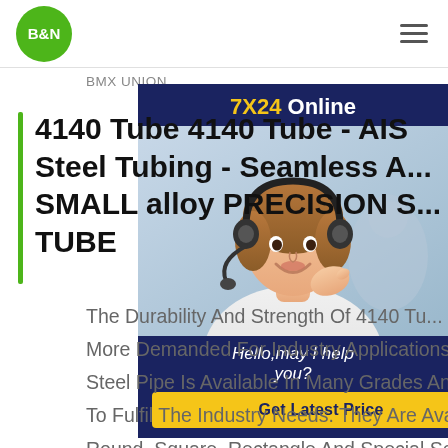[Figure (logo): B&N logo: white text on green circle]
[Figure (other): Hamburger menu icon (three horizontal lines)]
BMX UNION
4140 Tube 4140 Tube - AISI Steel Tubing - Seamless A... SMALL alloy PRECISION S... TUBE
[Figure (photo): Customer service representative wearing headset, smiling, with sidebar widget showing 7X24 Online, Hello may I help you?, and Get Latest Price button]
The Durability And Strength Of 4140 Tu... More Demanded For Industry Applications. 4140 Steel Pipe Is Available In Many Grades And Shapes To Fulfil The Industry Needs. They Are Available In Round, Square, Rectangle And Special Section Shapes And Can Be Customized In Lengths And Specification. 4140 Seamless Tubing Wall Thickness